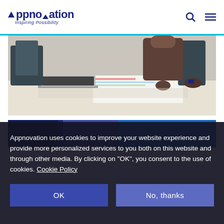Appnovation — Inspiring Possibility
[Figure (photo): A person leaning over a table with documents, a laptop, and color swatches in an office/workspace setting.]
[Figure (photo): A second partial photo strip showing a dark blue and medium blue background, appearing to be a team or presentation scene.]
Appnovation uses cookies to improve your website experience and provide more personalized services to you both on this website and through other media. By clicking on 'OK', you consent to the use of cookies. Cookie Policy
OK
No, thanks